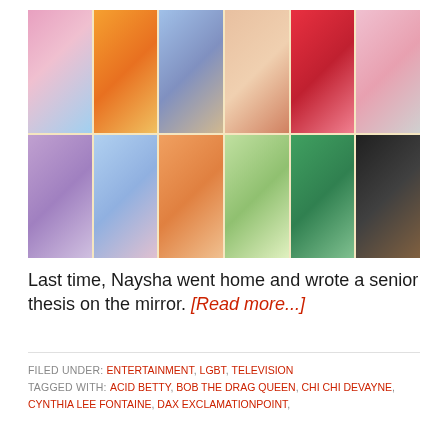[Figure (photo): A 6x2 grid of drag queen promotional photos with colorful costumes and wigs on a light yellow background]
Last time, Naysha went home and wrote a senior thesis on the mirror. [Read more...]
FILED UNDER: ENTERTAINMENT, LGBT, TELEVISION
TAGGED WITH: ACID BETTY, BOB THE DRAG QUEEN, CHI CHI DEVAYNE, CYNTHIA LEE FONTAINE, DAX EXCLAMATIONPOINT,